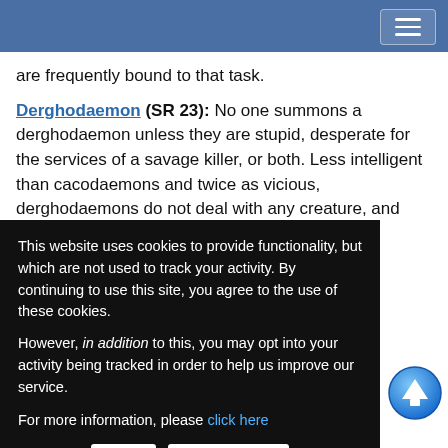are frequently bound to that task.
Derghodaemon (SR 23): No one summons a derghodaemon unless they are stupid, desperate for the services of a savage killer, or both. Less intelligent than cacodaemons and twice as vicious, derghodaemons do not deal with any creature, and relentlessly attempt to escape their binding...
...me plane, ...Styx; on the ...d to serve as ...ies of ...iable than ...aemons take ...s gifts for th...
[Figure (screenshot): Cookie consent overlay with text: 'This website uses cookies to provide functionality, but which are not used to track your activity. By continuing to use this site, you agree to the use of these cookies. However, in addition to this, you may opt into your activity being tracked in order to help us improve our service. For more information, please click here' and buttons OK and No, thank you]
[Figure (illustration): Blue circular scroll-to-top button with white upward arrow]
Leukodaemon (SR 20): Leukodaemons are the